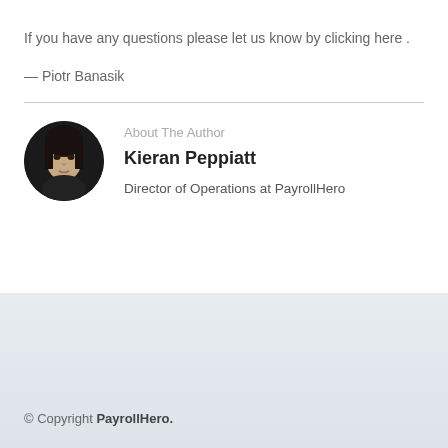If you have any questions please let us know by clicking here .
— Piotr Banasik
About The Author
[Figure (photo): Circular black and white portrait photo of Kieran Peppiatt]
Kieran Peppiatt
Director of Operations at PayrollHero
© Copyright PayrollHero.